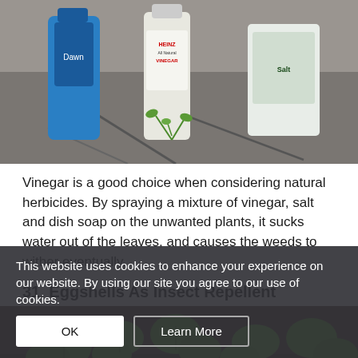[Figure (photo): Photo of a blue dish soap bottle, a Heinz All Natural White Vinegar bottle, and a bag of salt placed on asphalt pavement with a small weed growing in a crack.]
Vinegar is a good choice when considering natural herbicides. By spraying a mixture of vinegar, salt and dish soap on the unwanted plants, it sucks water out of the leaves, and causes the weeds to wither eventually.
31. Eggshells As Insect Repellent
[Figure (photo): Close-up photo of small green seedling plants with rounded leaves growing in soil in a planter.]
This website uses cookies to enhance your experience on our website. By using our site you agree to our use of cookies.